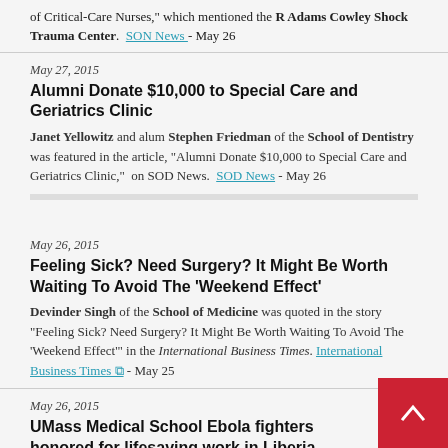of Critical-Care Nurses," which mentioned the R Adams Cowley Shock Trauma Center.  SON News - May 26
May 27, 2015
Alumni Donate $10,000 to Special Care and Geriatrics Clinic
Janet Yellowitz and alum Stephen Friedman of the School of Dentistry was featured in the article, "Alumni Donate $10,000 to Special Care and Geriatrics Clinic," on SOD News. SOD News - May 26
May 26, 2015
Feeling Sick? Need Surgery? It Might Be Worth Waiting To Avoid The 'Weekend Effect'
Devinder Singh of the School of Medicine was quoted in the story "Feeling Sick? Need Surgery? It Might Be Worth Waiting To Avoid The 'Weekend Effect'" in the International Business Times. International Business Times - May 25
May 26, 2015
UMass Medical School Ebola fighters honored for lifesaving work in Liberia